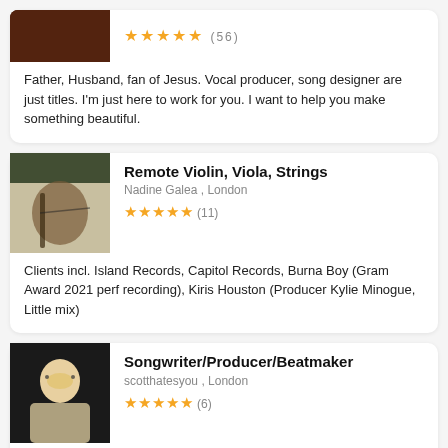Father, Husband, fan of Jesus. Vocal producer, song designer are just titles. I'm just here to work for you. I want to help you make something beautiful.
Remote Violin, Viola, Strings
Nadine Galea , London
★★★★★ (11)
Clients incl. Island Records, Capitol Records, Burna Boy (Gram Award 2021 perf recording), Kiris Houston (Producer Kylie Minogue, Little mix)
Songwriter/Producer/Beatmaker
scotthatesyou , London
★★★★★ (6)
Sad boy club